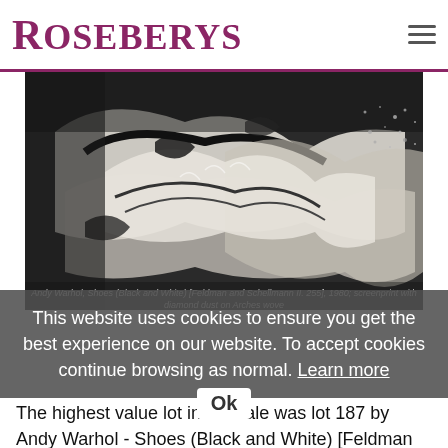Roseberys
[Figure (photo): Black and white artwork photograph showing abstract shoe shapes - Andy Warhol Shoes (Black and White) screenprint with diamond dust]
Andy Warhol, Shoes (Black and White) [Feldman and Schellmann II. 255], 1980; screenprint with diamond dust on Arches wove
This website uses cookies to ensure you get the best experience on our website. To accept cookies continue browsing as normal. Learn more
The highest value lot in the sale was lot 187 by Andy Warhol - Shoes (Black and White) [Feldman and Schellmann II. 255], 1980; screenprint with diamond dust on Arches wove.